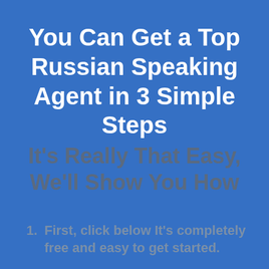You Can Get a Top Russian Speaking Agent in 3 Simple Steps
It's Really That Easy, We'll Show You How
First, click below It's completely free and easy to get started.